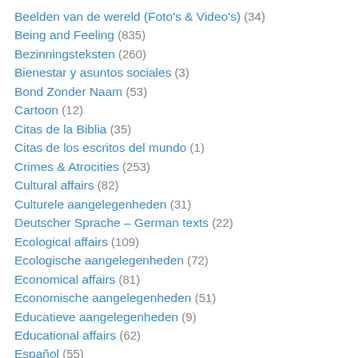Beelden van de wereld (Foto's & Video's) (34)
Being and Feeling (835)
Bezinningsteksten (260)
Bienestar y asuntos sociales (3)
Bond Zonder Naam (53)
Cartoon (12)
Citas de la Biblia (35)
Citas de los escritos del mundo (1)
Crimes & Atrocities (253)
Cultural affairs (82)
Culturele aangelegenheden (31)
Deutscher Sprache – German texts (22)
Ecological affairs (109)
Ecologische aangelegenheden (72)
Economical affairs (81)
Economische aangelegenheden (51)
Educatieve aangelegenheden (9)
Educational affairs (62)
Español (55)
Estilo de vida (2)